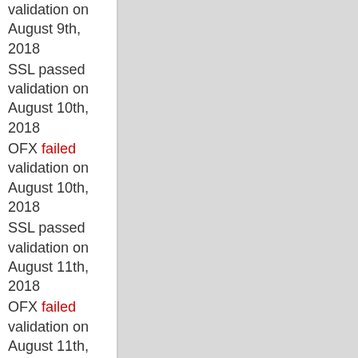validation on August 9th, 2018
SSL passed validation on August 10th, 2018
OFX failed validation on August 10th, 2018
SSL passed validation on August 11th, 2018
OFX failed validation on August 11th, 2018